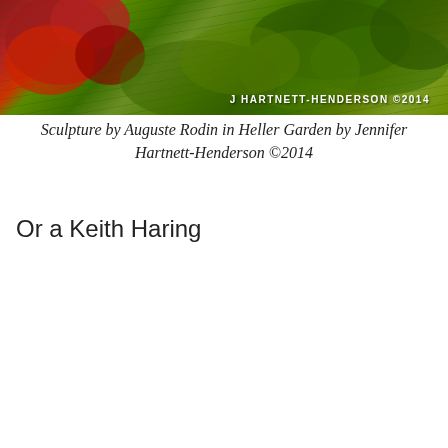[Figure (photo): Garden photo showing red tropical plants and green ferns with watermark text 'J HARTNETT-HENDERSON ©2014']
Sculpture by Auguste Rodin in Heller Garden by Jennifer Hartnett-Henderson ©2014
Or a Keith Haring
[Figure (photo): Garden photo with trees and blue sky, partially covered by a cookie consent banner]
Privacy & Cookies: This site uses cookies. By continuing to use this website, you agree to their use.
To find out more, including how to control cookies, see here: Cookie Policy
Close and accept